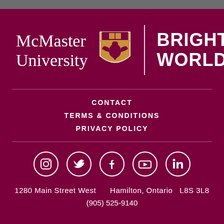[Figure (logo): McMaster University logo with shield crest and 'BRIGHTER WORLD' tagline on maroon background]
CONTACT
TERMS & CONDITIONS
PRIVACY POLICY
[Figure (illustration): Social media icons row: Instagram, Twitter, Facebook, YouTube, LinkedIn — white circle outlines on maroon background]
1280 Main Street West    Hamilton, Ontario  L8S 3L8
(905) 525-9140